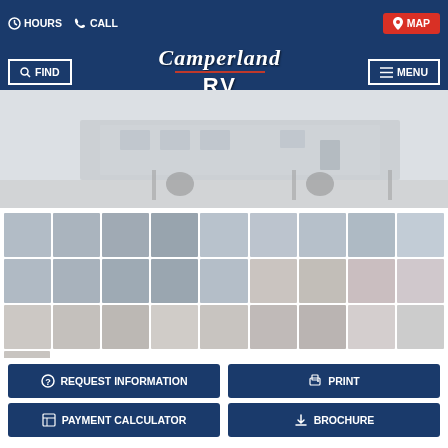HOURS  CALL  MAP
Camperland RV
FIND  MENU
[Figure (photo): Exterior photo of RV trailer at dealership lot, light grey/beige tones]
[Figure (photo): Gallery grid of 28 thumbnail photos showing RV exterior and interior views]
REQUEST INFORMATION
PRINT
PAYMENT CALCULATOR
BROCHURE